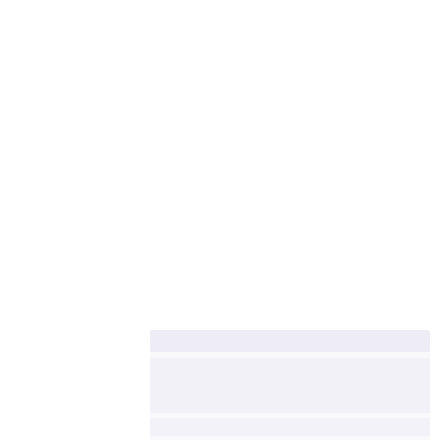[Figure (photo): Very faint, nearly white image appearing in the lower-center portion of the page. The image shows what appears to be a document or table with extremely low contrast against a white background, making content illegible.]